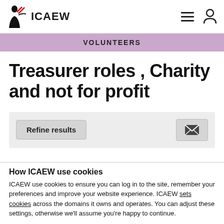ICAEW — VOLUNTEERS
Treasurer roles , Charity and not for profit
Refine results [button] [email icon button]
How ICAEW use cookies
ICAEW use cookies to ensure you can log in to the site, remember your preferences and improve your website experience. ICAEW sets cookies across the domains it owns and operates. You can adjust these settings, otherwise we'll assume you're happy to continue.